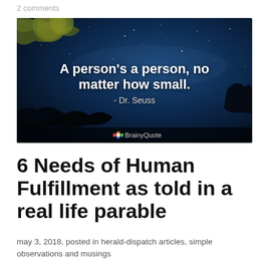2 comments
[Figure (illustration): A night sky background with silhouetted trees. Overlaid bold white text reads: 'A person's a person, no matter how small.' with attribution 'Dr. Seuss' below it. BrainyQuote logo appears at the bottom of the image.]
6 Needs of Human Fulfillment as told in a real life parable
may 3, 2018, posted in herald-dispatch articles, simple observations and musings